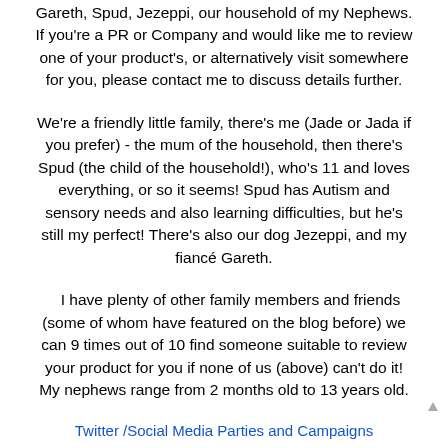Gareth, Spud, Jezeppi, our household of my Nephews. If you're a PR or Company and would like me to review one of your product's, or alternatively visit somewhere for you, please contact me to discuss details further.
We're a friendly little family, there's me (Jade or Jada if you prefer) - the mum of the household, then there's Spud (the child of the household!), who's 11 and loves everything, or so it seems! Spud has Autism and sensory needs and also learning difficulties, but he's still my perfect! There's also our dog Jezeppi, and my fiancé Gareth.
I have plenty of other family members and friends (some of whom have featured on the blog before) we can 9 times out of 10 find someone suitable to review your product for you if none of us (above) can't do it! My nephews range from 2 months old to 13 years old.
Twitter /Social Media Parties and Campaigns